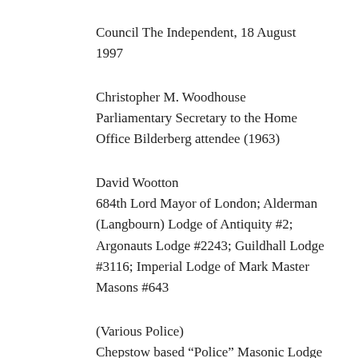Council The Independent, 18 August 1997
Christopher M. Woodhouse Parliamentary Secretary to the Home Office Bilderberg attendee (1963)
David Wootton 684th Lord Mayor of London; Alderman (Langbourn) Lodge of Antiquity #2; Argonauts Lodge #2243; Guildhall Lodge #3116; Imperial Lodge of Mark Master Masons #643
(Various Police) Chepstow based “Police” Masonic Lodge Blue Lamp Lodge #9840